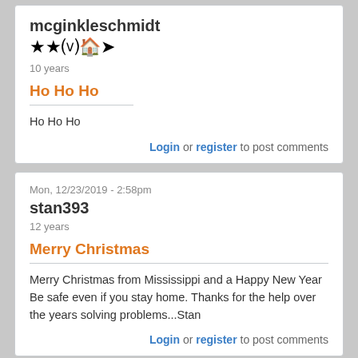mcginkleschmidt
[Figure (illustration): User badge icons: two stars, a circular logo, a red barn, and a windmill]
10 years
Ho Ho Ho
Ho Ho Ho
Login or register to post comments
Mon, 12/23/2019 - 2:58pm
stan393
12 years
Merry Christmas
Merry Christmas from Mississippi and a Happy New Year Be safe even if you stay home. Thanks for the help over the years solving problems...Stan
Login or register to post comments